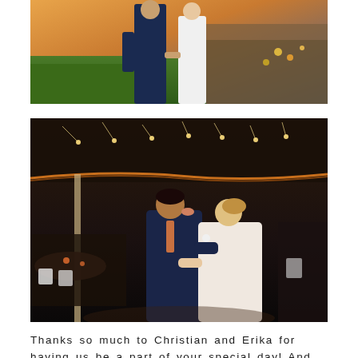[Figure (photo): Wedding couple outdoors holding hands at golden hour. Groom in navy suit, bride in white gown, green garden landscape with colorful flowers and stone wall in background.]
[Figure (photo): Bride and groom sharing a kiss on the dance floor under a tent at night reception. String lights and orange-lit tent edges visible overhead. Reception tables with guests in background.]
Thanks so much to Christian and Erika for having us be a part of your special day! And thanks to the AMAZING team of